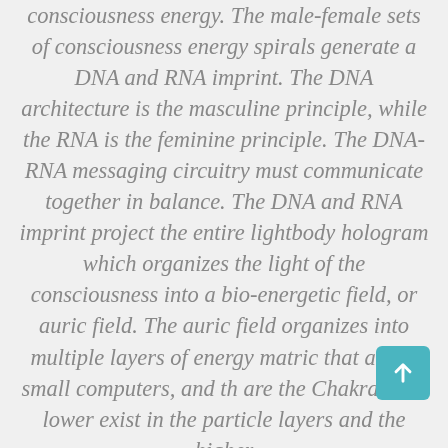consciousness energy. The male-female sets of consciousness energy spirals generate a DNA and RNA imprint. The DNA architecture is the masculine principle, while the RNA is the feminine principle. The DNA-RNA messaging circuitry must communicate together in balance. The DNA and RNA imprint project the entire lightbody hologram which organizes the light of the consciousness into a bio-energetic field, or auric field. The auric field organizes into multiple layers of energy matric that act as small computers, and th are the Chakras, the lower exist in the particle layers and the higher